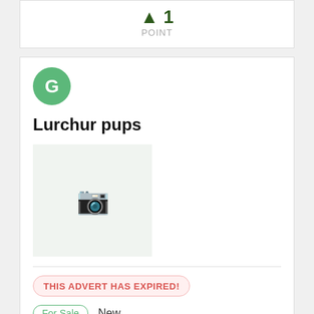[Figure (infographic): Green upward arrow with number 1 and label POINT below]
[Figure (infographic): Green circle avatar with letter G]
Lurchur pups
[Figure (photo): Grey placeholder image with camera icon]
THIS ADVERT HAS EXPIRED!
For Sale   New
5/8 3/8 bullgry x gwp both parents know there job pm me for more details thanks
NO VALUE SPECIFIED